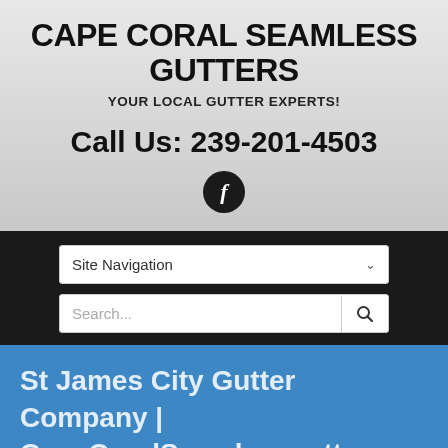CAPE CORAL SEAMLESS GUTTERS
YOUR LOCAL GUTTER EXPERTS!
Call Us: 239-201-4503
[Figure (logo): Facebook icon — circular dark button with white letter f]
Site Navigation
Search...
St James City Gutter Company | CapeCoralSeamlessgutters.com | St James City Florida 33956 |